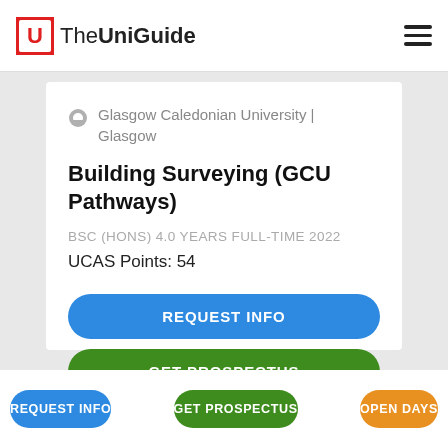TheUniGuide
Glasgow Caledonian University | Glasgow
Building Surveying (GCU Pathways)
BSC (HONS) 4.0 YEARS FULL-TIME 2022
UCAS Points: 54
REQUEST INFO
GET PROSPECTUS
REQUEST INFO
GET PROSPECTUS
OPEN DAYS